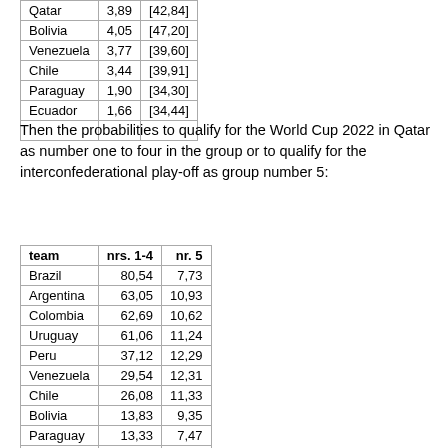|  |  |  |
| --- | --- | --- |
| Qatar | 3,89 | [42,84] |
| Bolivia | 4,05 | [47,20] |
| Venezuela | 3,77 | [39,60] |
| Chile | 3,44 | [39,91] |
| Paraguay | 1,90 | [34,30] |
| Ecuador | 1,66 | [34,44] |
Then the probabilities to qualify for the World Cup 2022 in Qatar as number one to four in the group or to qualify for the interconfederational play-off as group number 5:
| team | nrs. 1-4 | nr. 5 |
| --- | --- | --- |
| Brazil | 80,54 | 7,73 |
| Argentina | 63,05 | 10,93 |
| Colombia | 62,69 | 10,62 |
| Uruguay | 61,06 | 11,24 |
| Peru | 37,12 | 12,29 |
| Venezuela | 29,54 | 12,31 |
| Chile | 26,08 | 11,33 |
| Bolivia | 13,83 | 9,35 |
| Paraguay | 13,33 | 7,47 |
| Ecuador | 12,76 | 6,73 |